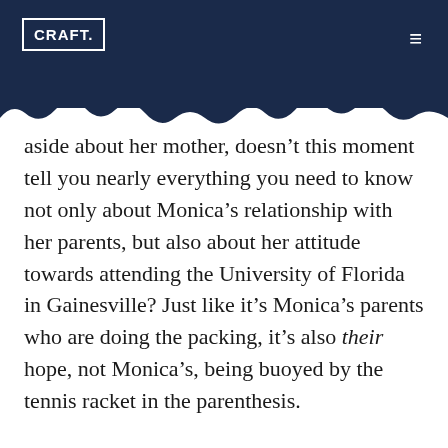CRAFT.
aside about her mother, doesn’t this moment tell you nearly everything you need to know not only about Monica’s relationship with her parents, but also about her attitude towards attending the University of Florida in Gainesville? Just like it’s Monica’s parents who are doing the packing, it’s also their hope, not Monica’s, being buoyed by the tennis racket in the parenthesis.
This parenthetical digression is also the opening’s main source of tension. The tennis racket is described as a “remnant of happier